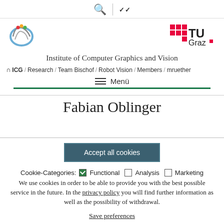Institute of Computer Graphics and Vision — ICG / Research / Team Bischof / Robot Vision / Members / mruether
Menü
Fabian Oblinger
Accept all cookies
Cookie-Categories: ☑ Functional □ Analysis □ Marketing
We use cookies in order to be able to provide you with the best possible service in the future. In the privacy policy you will find further information as well as the possibility of withdrawal.
Save preferences